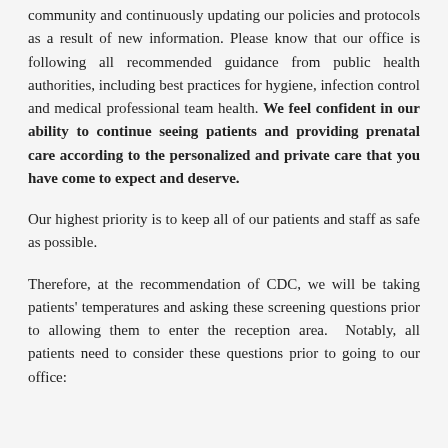community and continuously updating our policies and protocols as a result of new information. Please know that our office is following all recommended guidance from public health authorities, including best practices for hygiene, infection control and medical professional team health. We feel confident in our ability to continue seeing patients and providing prenatal care according to the personalized and private care that you have come to expect and deserve.
Our highest priority is to keep all of our patients and staff as safe as possible.
Therefore, at the recommendation of CDC, we will be taking patients' temperatures and asking these screening questions prior to allowing them to enter the reception area. Notably, all patients need to consider these questions prior to going to our office: